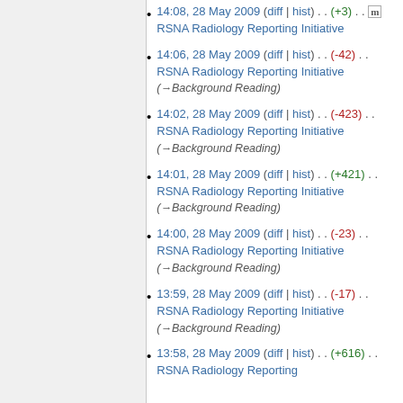14:08, 28 May 2009 (diff | hist) . . (+3) . . m RSNA Radiology Reporting Initiative
14:06, 28 May 2009 (diff | hist) . . (-42) . . RSNA Radiology Reporting Initiative (→Background Reading)
14:02, 28 May 2009 (diff | hist) . . (-423) . . RSNA Radiology Reporting Initiative (→Background Reading)
14:01, 28 May 2009 (diff | hist) . . (+421) . . RSNA Radiology Reporting Initiative (→Background Reading)
14:00, 28 May 2009 (diff | hist) . . (-23) . . RSNA Radiology Reporting Initiative (→Background Reading)
13:59, 28 May 2009 (diff | hist) . . (-17) . . RSNA Radiology Reporting Initiative (→Background Reading)
13:58, 28 May 2009 (diff | hist) . . (+616) . . RSNA Radiology Reporting Initiative